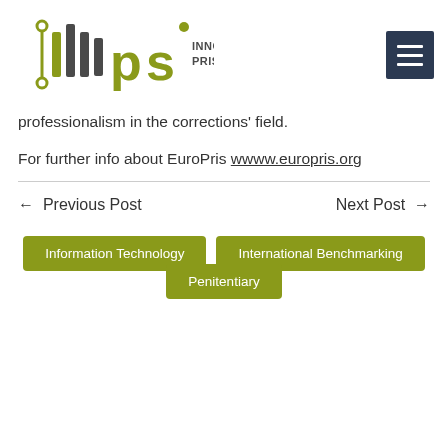[Figure (logo): IPS Innovative Prison Systems logo with olive green circuit-bar graphic and text]
professionalism in the corrections' field.
For further info about EuroPris wwww.europris.org
← Previous Post    Next Post →
Information Technology
International Benchmarking
Penitentiary